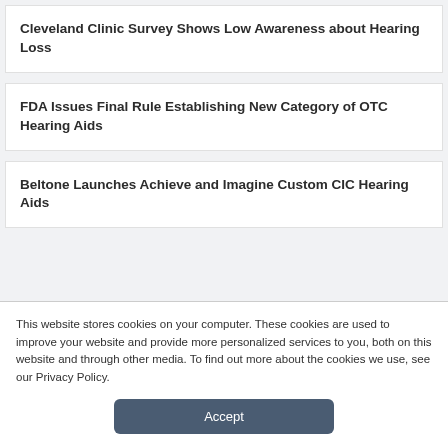Cleveland Clinic Survey Shows Low Awareness about Hearing Loss
FDA Issues Final Rule Establishing New Category of OTC Hearing Aids
Beltone Launches Achieve and Imagine Custom CIC Hearing Aids
This website stores cookies on your computer. These cookies are used to improve your website and provide more personalized services to you, both on this website and through other media. To find out more about the cookies we use, see our Privacy Policy.